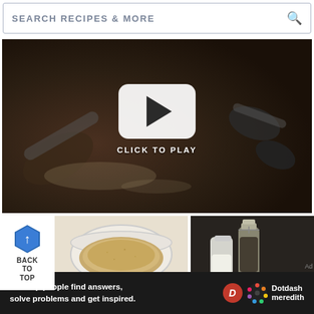[Figure (screenshot): Search bar with text SEARCH RECIPES & MORE and a magnifying glass icon]
[Figure (screenshot): Video thumbnail showing measuring spoons with spilled powder on dark surface, with a white play button overlay and CLICK TO PLAY text]
[Figure (screenshot): Back to top arrow hexagon button with text BACK TO TOP]
[Figure (photo): Bowl of ground spice or breadcrumbs powder seen from above on white background]
[Figure (photo): Glass bottles with salt and pepper on dark background]
Ad
We help people find answers, solve problems and get inspired.
[Figure (logo): Dotdash Meredith logo with red D circle and colorful star icon]